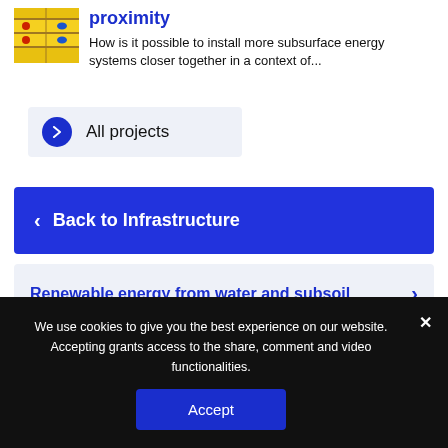[Figure (illustration): Thumbnail image showing subsurface energy systems with colored horizontal layers and markers on yellow background]
proximity
How is it possible to install more subsurface energy systems closer together in a context of...
All projects
< Back to Infrastructure
Renewable energy from water and subsoil
We use cookies to give you the best experience on our website. Accepting grants access to the share, comment and video functionalities.
Accept